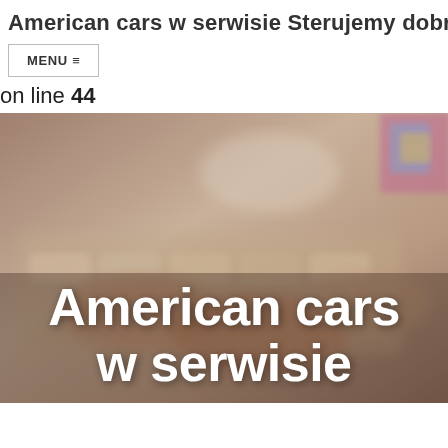American cars w serwisie Sterujemy dobre
MENU ≡
on line 44
[Figure (photo): Blurred photo of hands typing on a keyboard, with a colorful object visible at the top right corner. Background is muted brown and gray tones.]
American cars w serwisie